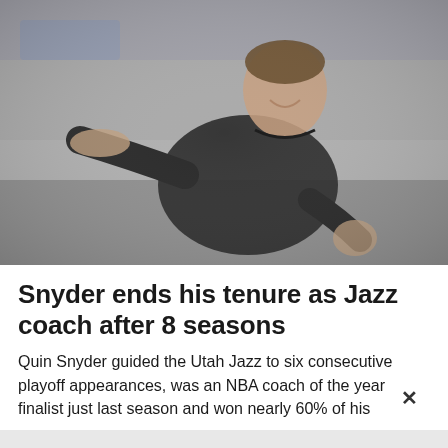[Figure (photo): A basketball coach in a black polo shirt gesturing with his arms outstretched on a basketball court, smiling. The background is blurred with arena lighting.]
Snyder ends his tenure as Jazz coach after 8 seasons
Quin Snyder guided the Utah Jazz to six consecutive playoff appearances, was an NBA coach of the year finalist just last season and won nearly 60% of his